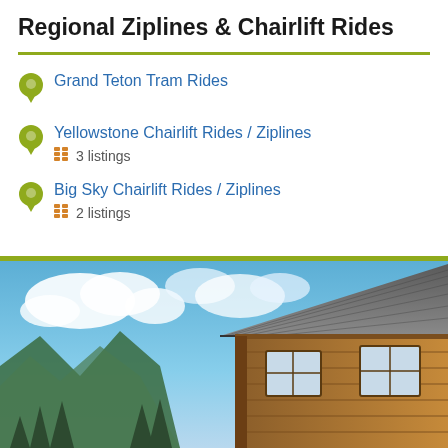Regional Ziplines & Chairlift Rides
Grand Teton Tram Rides
Yellowstone Chairlift Rides / Ziplines
3 listings
Big Sky Chairlift Rides / Ziplines
2 listings
[Figure (photo): Mountain log cabin with gray shingle roof, wooden walls, and windows, set against a backdrop of blue sky with white clouds and forested mountain slopes.]